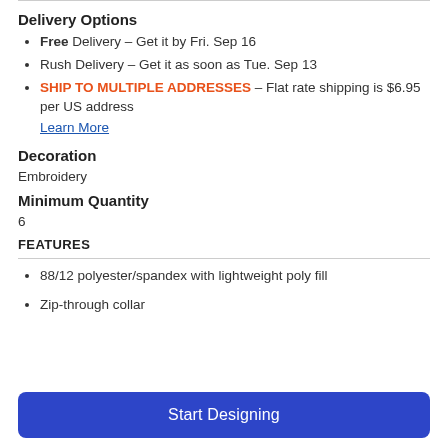Delivery Options
Free Delivery – Get it by Fri. Sep 16
Rush Delivery – Get it as soon as Tue. Sep 13
SHIP TO MULTIPLE ADDRESSES – Flat rate shipping is $6.95 per US address
Learn More
Decoration
Embroidery
Minimum Quantity
6
FEATURES
88/12 polyester/spandex with lightweight poly fill
Zip-through collar
Start Designing